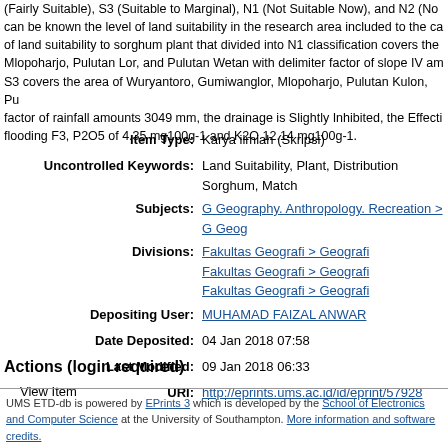(Fairly Suitable), S3 (Suitable to Marginal), N1 (Not Suitable Now), and N2 (No... can be known the level of land suitability in the research area included to the ca... of land suitability to sorghum plant that divided into N1 classification covers the... Mlopoharjo, Pulutan Lor, and Pulutan Wetan with delimiter factor of slope IV am... S3 covers the area of Wuryantoro, Gumiwanglor, Mlopoharjo, Pulutan Kulon, Pu... factor of rainfall amounts 3049 mm, the drainage is Slightly Inhibited, the Effecti... flooding F3, P2O5 of 4.35 mg100g-1 and K2O 12.14 mg100g-1.
| Field | Value |
| --- | --- |
| Item Type: | Karya ilmiah (Skripsi) |
| Uncontrolled Keywords: | Land Suitability, Plant, Distribution Sorghum, Match... |
| Subjects: | G Geography. Anthropology. Recreation > G Geog... |
| Divisions: | Fakultas Geografi > Geografi
Fakultas Geografi > Geografi
Fakultas Geografi > Geografi |
| Depositing User: | MUHAMAD FAIZAL ANWAR |
| Date Deposited: | 04 Jan 2018 07:58 |
| Last Modified: | 09 Jan 2018 06:33 |
| URI: | http://eprints.ums.ac.id/id/eprint/57928 |
Actions (login required)
View Item
UMS ETD-db is powered by EPrints 3 which is developed by the School of Electronics and Computer Science at the University of Southampton. More information and software credits.